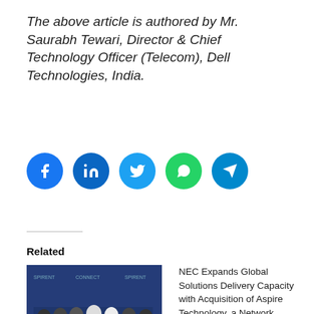The above article is authored by Mr. Saurabh Tewari, Director & Chief Technology Officer (Telecom), Dell Technologies, India.
[Figure (infographic): Row of social media share buttons: Facebook (blue), LinkedIn (dark blue), Twitter (light blue), WhatsApp (green), Telegram (teal)]
Related
[Figure (photo): Group photo of people at Spirent Connect event with blue banner background]
Spirent Showcases Test, Validation and Assurance Solutions as 5G Race Accelerates in India
July 5, 2022
NEC Expands Global Solutions Delivery Capacity with Acquisition of Aspire Technology, a Network Solutions and Integration Co... Aspire Techno... enhances NEC... Networks' sui... expertise in th... ...integration of h...